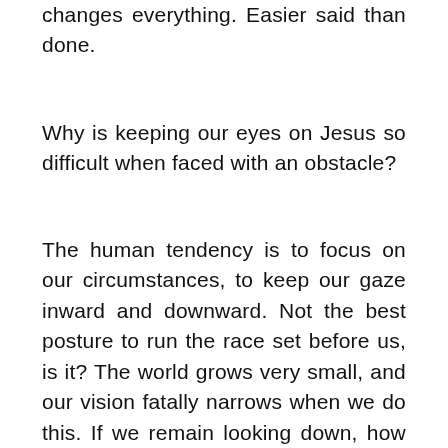changes everything. Easier said than done.
Why is keeping our eyes on Jesus so difficult when faced with an obstacle?
The human tendency is to focus on our circumstances, to keep our gaze inward and downward. Not the best posture to run the race set before us, is it? The world grows very small, and our vision fatally narrows when we do this. If we remain looking down, how will we see the finish line? If our focus is on ourselves,